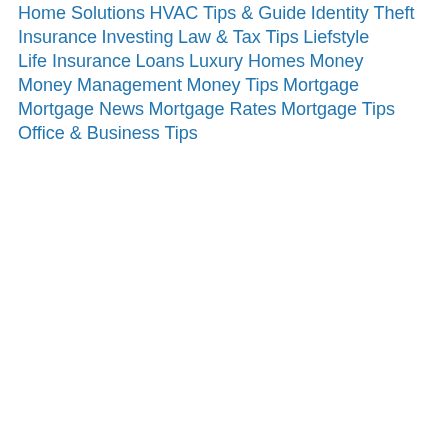Home Solutions
HVAC Tips & Guide
Identity Theft
Insurance
Investing
Law & Tax Tips
Liefstyle
Life Insurance
Loans
Luxury Homes
Money
Money Management
Money Tips
Mortgage
Mortgage News
Mortgage Rates
Mortgage Tips
Office & Business Tips